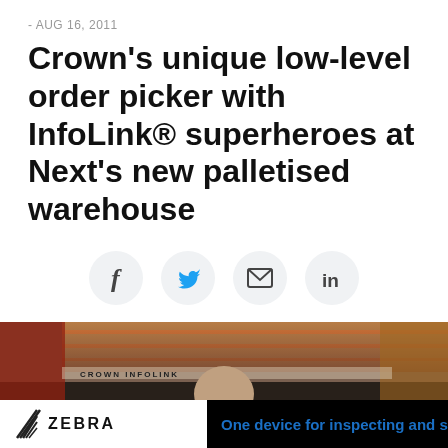- AUG 16, 2011
Crown’s unique low-level order picker with InfoLink® superheroes at Next’s new palletised warehouse
[Figure (infographic): Four social sharing icon circles: Facebook (f), Twitter (bird), Email (envelope), LinkedIn (in)]
[Figure (photo): Warehouse interior photo showing shelving racks and a worker, partially visible, in the foreground]
[Figure (infographic): Advertisement bar: Zebra logo on white background on left, blue text 'One device for inspecting and scan' on black background on right]